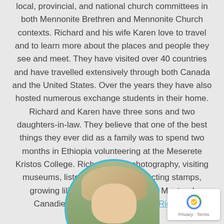local, provincial, and national church committees in both Mennonite Brethren and Mennonite Church contexts. Richard and his wife Karen love to travel and to learn more about the places and people they see and meet. They have visited over 40 countries and have travelled extensively through both Canada and the United States. Over the years they have also hosted numerous exchange students in their home. Richard and Karen have three sons and two daughters-in-law. They believe that one of the best things they ever did as a family was to spend two months in Ethiopia volunteering at the Meserete Kristos College. Richard loves photography, visiting museums, listening to music, collecting stamps, growing lilies, and cheering for the Montreal Canadiens. Upcoming tours with Richard.
[Figure (photo): Circular portrait photo of a person with light hair, partially visible, with a teal circular border frame. Only the top portion of the circle is visible as it extends below the page bottom.]